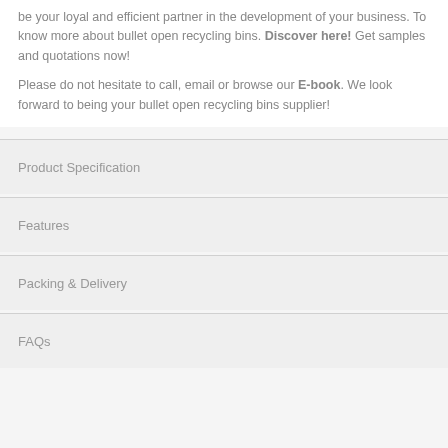be your loyal and efficient partner in the development of your business. To know more about bullet open recycling bins. Discover here! Get samples and quotations now!
Please do not hesitate to call, email or browse our E-book. We look forward to being your bullet open recycling bins supplier!
Product Specification
Features
Packing & Delivery
FAQs